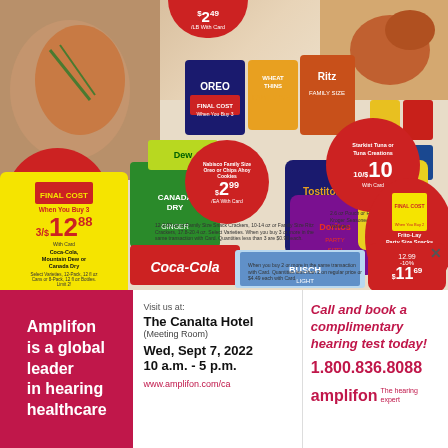[Figure (infographic): Kroger grocery store sale flyer showing boneless pork chops 10/$10, Nabisco Family Size Oreo or Chips Ahoy Cookies $2.99/ea, Starkist Tuna 10/$10, Frito-Lay Party Size Snacks $2.99/ea, Coca-Cola/Mountain Dew/Canada Dry 3/$12.88, Busch Light beer, and wine bottles with prices. Products shown include Canada Dry ginger ale, Mountain Dew, Coca-Cola 12-packs, Tostitos, Doritos Party Size, Lay's chips, Oreo cookies, Wheat Thins, Ritz crackers.]
$2.49 /LB With Card
Boneless Pork Chops 10/$10 With Card
Nabisco Family Size Oreo or Chips Ahoy Cookies FINAL COST When You Buy 3 $2.99 /EA With Card
Starkist Tuna or Tuna Creations 10/$10 With Card
FINAL COST When You Buy 3 3/$12.88 With Card Coca-Cola, Mountain Dew or Canada Dry Select Varieties, 12-Pack, 12 fl oz Cans or 8-Pack, 12 fl oz Bottles. Limit 2!
Frito-Lay Party Size Snacks FINAL COST When You Buy 2 Select Varieties & 13-17 oz $2.99 /EA With Card
12.99 -10% $11.69
Amplifon is a global leader in hearing healthcare
Visit us at: The Canalta Hotel (Meeting Room) Wed, Sept 7, 2022 10 a.m. - 5 p.m. www.amplifon.com/ca
Call and book a complimentary hearing test today! 1.800.836.8088 amplifon The hearing expert